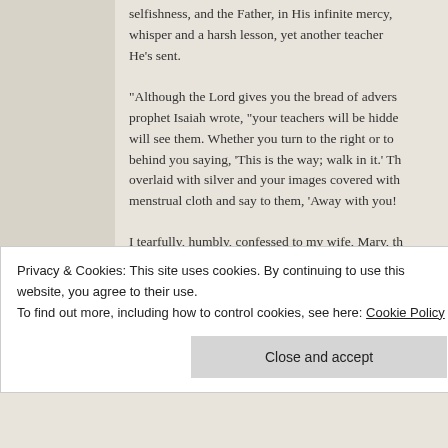selfishness, and the Father, in His infinite mercy, whisper and a harsh lesson, yet another teacher He's sent.
"Although the Lord gives you the bread of adversity, the prophet Isaiah wrote, "your teachers will be hidden will see them. Whether you turn to the right or to behind you saying, 'This is the way; walk in it.' The overlaid with silver and your images covered with menstrual cloth and say to them, 'Away with you!'
I tearfully, humbly, confessed to my wife, Mary, th and I apologized for putting us into a stressful fina
Privacy & Cookies: This site uses cookies. By continuing to use this website, you agree to their use.
To find out more, including how to control cookies, see here: Cookie Policy
Close and accept